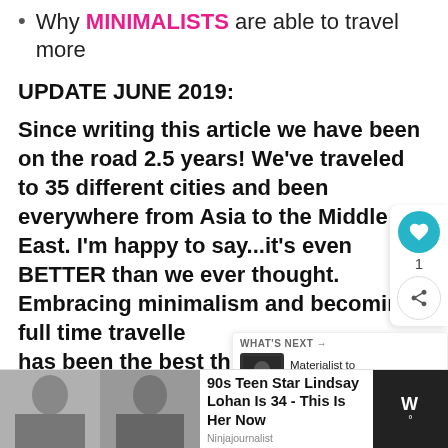Why MINIMALISTS are able to travel more
UPDATE JUNE 2019:
Since writing this article we have been on the road 2.5 years! We've traveled to 35 different cities and been everywhere from Asia to the Middle East. I'm happy to say...it's even BETTER than we ever thought. Embracing minimalism and becoming full time travellers has been the best thing we've ever done in our lives! It only makes us wish we had sooner.
[Figure (infographic): Social sharing widget with heart/like button showing count of 1 and a share button]
[Figure (infographic): What's Next widget showing a thumbnail and text 'Materialist to Minimalist -...']
[Figure (infographic): Advertisement bar at bottom showing Lindsay Lohan photos with text '90s Teen Star Lindsay Lohan Is 34 - This Is Her Now' and Ninjajourmalist source, and a dark panel with 'W°' logo]